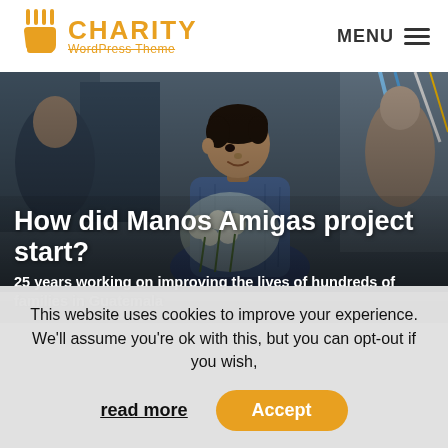[Figure (logo): Charity WordPress Theme logo with hand/rays icon in orange and text CHARITY in orange letters, subtitle WordPress Theme]
MENU ≡
[Figure (photo): A young boy at a market holding white flowers, with blurred people and colorful ropes in the background]
How did Manos Amigas project start?
25 years working on improving the lives of hundreds of families in Guatemala
This website uses cookies to improve your experience. We'll assume you're ok with this, but you can opt-out if you wish,
read more
Accept